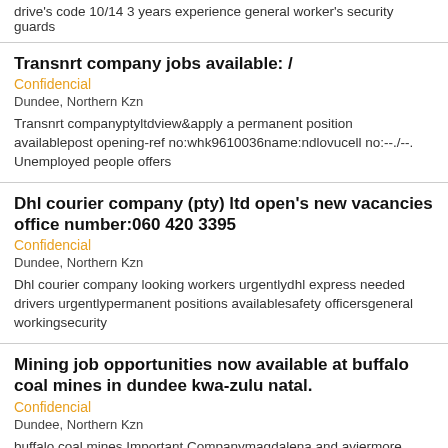drive's code 10/14 3 years experience general worker's security guards
Transnrt company jobs available: /
Confidencial
Dundee, Northern Kzn
Transnrt companyptyltdview&apply a permanent position availablepost opening-ref no:whk9610036name:ndlovucell no:--./--.Unemployed people offers
Dhl courier company (pty) ltd open's new vacancies office number:060 420 3395
Confidencial
Dundee, Northern Kzn
Dhl courier company looking workers urgentlydhl express needed drivers urgentlypermanent positions availablesafety officersgeneral workingsecurity
Mining job opportunities now available at buffalo coal mines in dundee kwa-zulu natal.
Confidencial
Dundee, Northern Kzn
buffalo coal mines Important Companymagdalena and aviermore collieriesbuffalo coal mines is a high quality thermal and metallurgical coal
Mining job opportunities now available at